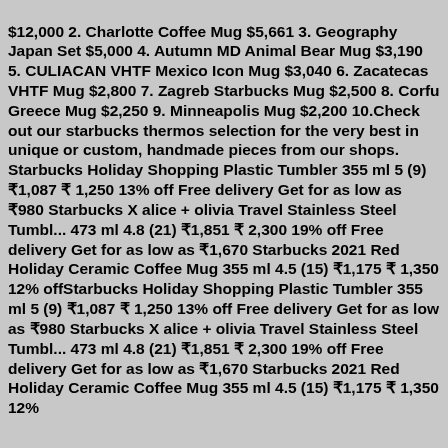$12,000 2. Charlotte Coffee Mug $5,661 3. Geography Japan Set $5,000 4. Autumn MD Animal Bear Mug $3,190 5. CULIACAN VHTF Mexico Icon Mug $3,040 6. Zacatecas VHTF Mug $2,800 7. Zagreb Starbucks Mug $2,500 8. Corfu Greece Mug $2,250 9. Minneapolis Mug $2,200 10.Check out our starbucks thermos selection for the very best in unique or custom, handmade pieces from our shops. Starbucks Holiday Shopping Plastic Tumbler 355 ml 5 (9) ₹1,087 ₹ 1,250 13% off Free delivery Get for as low as ₹980 Starbucks X alice + olivia Travel Stainless Steel Tumbl... 473 ml 4.8 (21) ₹1,851 ₹ 2,300 19% off Free delivery Get for as low as ₹1,670 Starbucks 2021 Red Holiday Ceramic Coffee Mug 355 ml 4.5 (15) ₹1,175 ₹ 1,350 12% offStarbucks Holiday Shopping Plastic Tumbler 355 ml 5 (9) ₹1,087 ₹ 1,250 13% off Free delivery Get for as low as ₹980 Starbucks X alice + olivia Travel Stainless Steel Tumbl... 473 ml 4.8 (21) ₹1,851 ₹ 2,300 19% off Free delivery Get for as low as ₹1,670 Starbucks 2021 Red Holiday Ceramic Coffee Mug 355 ml 4.5 (15) ₹1,175 ₹ 1,350 12%